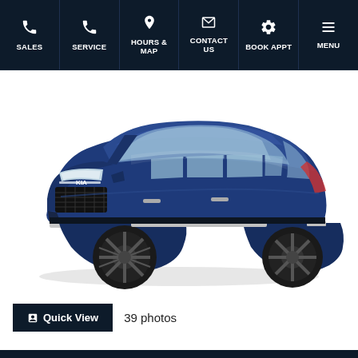SALES | SERVICE | HOURS & MAP | CONTACT US | BOOK APPT | MENU
[Figure (photo): Blue Kia Carnival minivan/MPV shown in a 3/4 front-left view, featuring a bold grille, dark alloy wheels, and sliding rear doors, on a white background.]
Quick View  39 photos